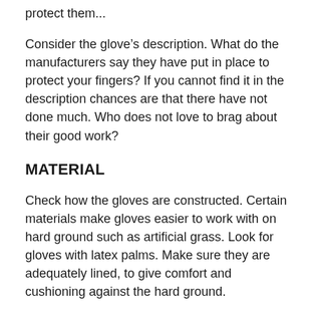protect them...
Consider the glove’s description. What do the manufacturers say they have put in place to protect your fingers? If you cannot find it in the description chances are that there have not done much. Who does not love to brag about their good work?
MATERIAL
Check how the gloves are constructed. Certain materials make gloves easier to work with on hard ground such as artificial grass. Look for gloves with latex palms. Make sure they are adequately lined, to give comfort and cushioning against the hard ground.